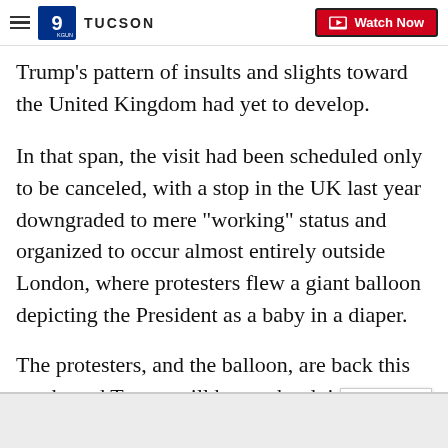9 TUCSON | Watch Now
Trump's pattern of insults and slights toward the United Kingdom had yet to develop.
In that span, the visit had been scheduled only to be canceled, with a stop in the UK last year downgraded to mere "working" status and organized to occur almost entirely outside London, where protesters flew a giant balloon depicting the President as a baby in a diaper.
The protesters, and the balloon, are back this week, and Trump will have a hard time avoiding them as